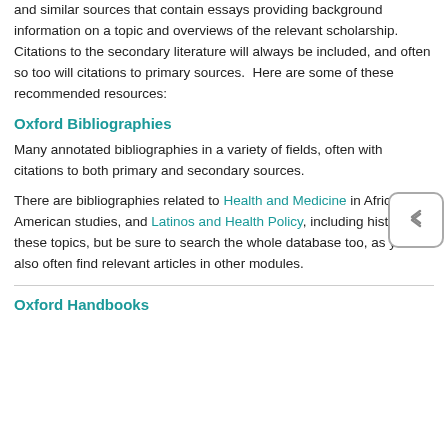and similar sources that contain essays providing background information on a topic and overviews of the relevant scholarship. Citations to the secondary literature will always be included, and often so too will citations to primary sources.  Here are some of these recommended resources:
Oxford Bibliographies
Many annotated bibliographies in a variety of fields, often with citations to both primary and secondary sources.
There are bibliographies related to Health and Medicine in African American studies, and Latinos and Health Policy, including histories of these topics, but be sure to search the whole database too, as you'll also often find relevant articles in other modules.
Oxford Handbooks